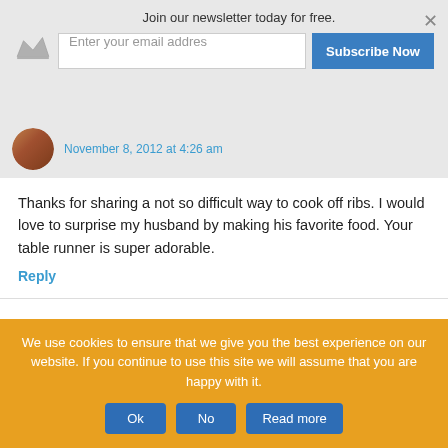Join our newsletter today for free.
Enter your email addres
Subscribe Now
November 8, 2012 at 4:26 am
Thanks for sharing a not so difficult way to cook off ribs. I would love to surprise my husband by making his favorite food. Your table runner is super adorable.
Reply
Tonya says
November 8, 2012 at 8:46 am
Yum! My hubby would love these!
Reply
We use cookies to ensure that we give you the best experience on our website. If you continue to use this site we will assume that you are happy with it.
Ok
No
Read more